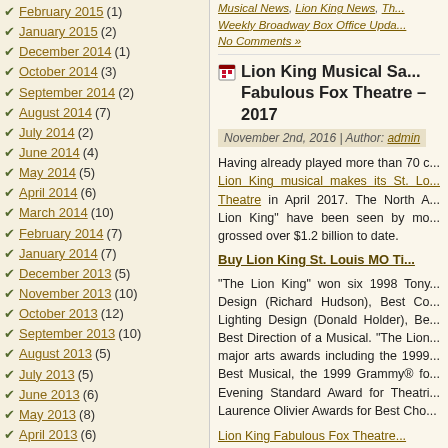February 2015 (1)
January 2015 (2)
December 2014 (1)
October 2014 (3)
September 2014 (2)
August 2014 (7)
July 2014 (2)
June 2014 (4)
May 2014 (5)
April 2014 (6)
March 2014 (10)
February 2014 (7)
January 2014 (7)
December 2013 (5)
November 2013 (10)
October 2013 (12)
September 2013 (10)
August 2013 (5)
July 2013 (5)
June 2013 (6)
May 2013 (8)
April 2013 (6)
Musical News, Lion King News, T... Weekly Broadway Box Office Upda... No Comments »
Lion King Musical Sa... Fabulous Fox Theatre – 2017
November 2nd, 2016 | Author: admin
Having already played more than 70 c... Lion King musical makes its St. Lo... Theatre in April 2017. The North A... Lion King" have been seen by mo... grossed over $1.2 billion to date.
Buy Lion King St. Louis MO Ti...
"The Lion King" won six 1998 Tony... Design (Richard Hudson), Best Co... Lighting Design (Donald Holder), Be... Best Direction of a Musical. "The Lion... major arts awards including the 1999... Best Musical, the 1999 Grammy® fo... Evening Standard Award for Theatri... Laurence Olivier Awards for Best Cho...
Lion King Fabulous Fox Theatre... Tuesdays – 7:30 PM Wednesdays – 7:30 PM Thursdays – 7:30 PM Fridays – 7:30 PM